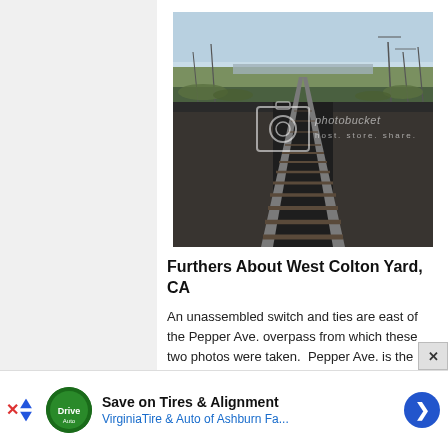[Figure (photo): Photograph of railroad tracks stretching into the distance with gravel ballast, utility poles on the right, a bridge or overpass visible in the background, taken from an overpass. Photobucket watermark overlay visible.]
Furthers About West Colton Yard, CA
An unassembled switch and ties are east of the Pepper Ave. overpass from which these two photos were taken.  Pepper Ave. is the boarder between Colton and Rialto
Save on Tires & Alignment
VirginiaTire & Auto of Ashburn Fa...